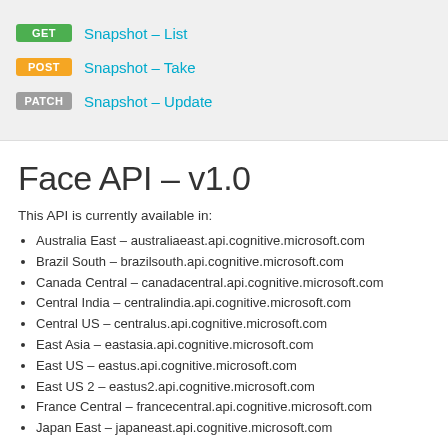GET  Snapshot - List
POST  Snapshot - Take
PATCH  Snapshot - Update
Face API - v1.0
This API is currently available in:
Australia East - australiaeast.api.cognitive.microsoft.com
Brazil South - brazilsouth.api.cognitive.microsoft.com
Canada Central - canadacentral.api.cognitive.microsoft.com
Central India - centralindia.api.cognitive.microsoft.com
Central US - centralus.api.cognitive.microsoft.com
East Asia - eastasia.api.cognitive.microsoft.com
East US - eastus.api.cognitive.microsoft.com
East US 2 - eastus2.api.cognitive.microsoft.com
France Central - francecentral.api.cognitive.microsoft.com
Japan East - japaneast.api.cognitive.microsoft.com (partial)